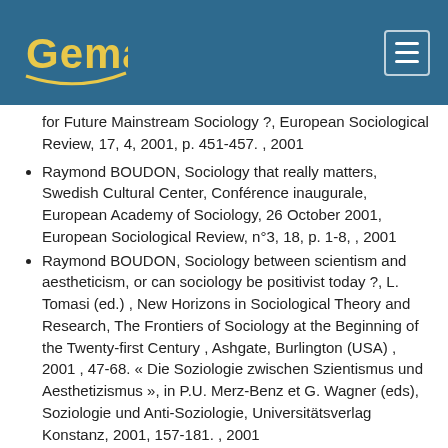Gemass
for Future Mainstream Sociology ?, European Sociological Review, 17, 4, 2001, p. 451-457. , 2001
Raymond BOUDON, Sociology that really matters, Swedish Cultural Center, Conférence inaugurale, European Academy of Sociology, 26 October 2001, European Sociological Review, n°3, 18, p. 1-8, , 2001
Raymond BOUDON, Sociology between scientism and aestheticism, or can sociology be positivist today ?, L. Tomasi (ed.) , New Horizons in Sociological Theory and Research, The Frontiers of Sociology at the Beginning of the Twenty-first Century , Ashgate, Burlington (USA) , 2001 , 47-68. « Die Soziologie zwischen Szientismus und Aesthetizismus », in P.U. Merz-Benz et G. Wagner (eds), Soziologie und Anti-Soziologie, Universitätsverlag Konstanz, 2001, 157-181. , 2001
Raymond BOUDON, "Les causes de l'inégalité des chances scolaires"(Conférence, Fondation Saint-Simon 12 fév 1990), in R. Boudon, N. Bulle et M